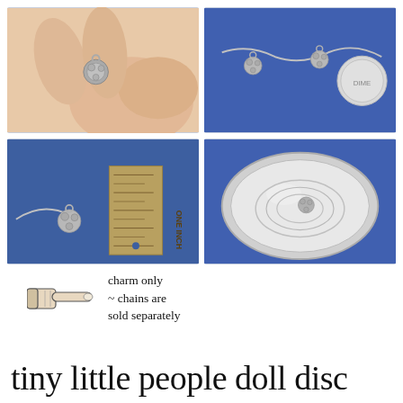[Figure (photo): Top-left photo: A small silver charm with floral/ball design held between fingers against a neutral background]
[Figure (photo): Top-right photo: Small silver charms on a chain with a dime coin for scale on a blue background]
[Figure (photo): Bottom-left photo: Silver charm on a chain next to a one-inch brass ruler on a blue background]
[Figure (photo): Bottom-right photo: Silver charm with chain coiled inside a small round tin container on a blue background]
charm only ~ chains are sold separately
tiny little people doll disc...